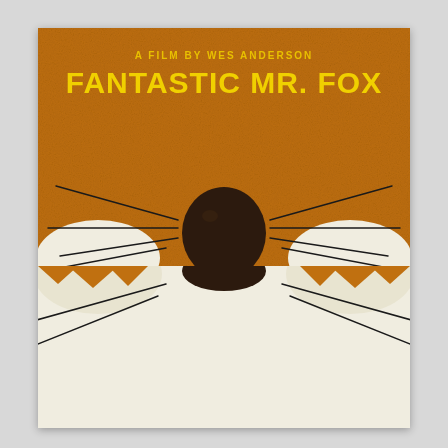[Figure (illustration): Minimalist movie poster for 'Fantastic Mr. Fox' directed by Wes Anderson. Orange background with a stylized fox face showing a large dark brown nose in the center, whiskers radiating outward, and white fur at the bottom. Text reads 'A FILM BY WES ANDERSON' in small yellow letters and 'FANTASTIC MR. FOX' in large bold yellow letters at the top.]